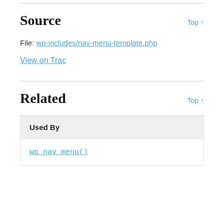Source
File: wp-includes/nav-menu-template.php
View on Trac
Related
| Used By |  |
| --- | --- |
| wp_nav_menu() |  |